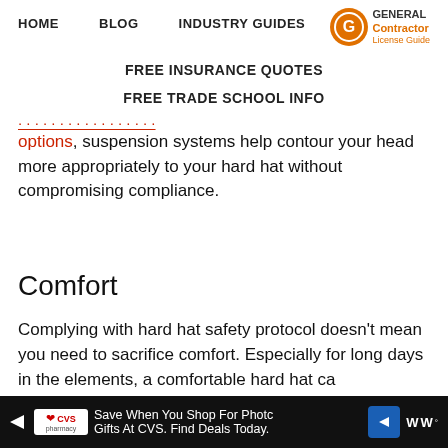HOME   BLOG   INDUSTRY GUIDES   GENERAL Contractor License Guide
FREE INSURANCE QUOTES
FREE TRADE SCHOOL INFO
options, suspension systems help contour your head more appropriately to your hard hat without compromising compliance.
Comfort
Complying with hard hat safety protocol doesn’t mean you need to sacrifice comfort. Especially for long days in the elements, a comfortable hard hat ca...ll do...e
[Figure (other): CVS Pharmacy advertisement banner: Save When You Shop For Photo Gifts At CVS. Find Deals Today.]